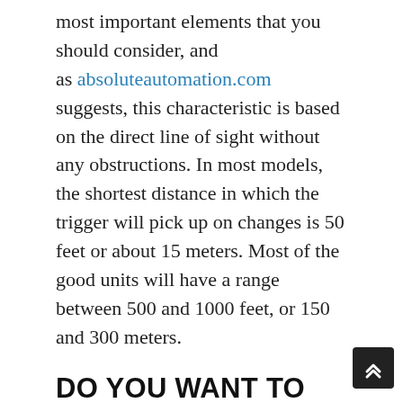most important elements that you should consider, and as absoluteautomation.com suggests, this characteristic is based on the direct line of sight without any obstructions. In most models, the shortest distance in which the trigger will pick up on changes is 50 feet or about 15 meters. Most of the good units will have a range between 500 and 1000 feet, or 150 and 300 meters.
DO YOU WANT TO GO WITH CABLES OR A WIRELESS UNIT?
There are two main traits that you can find in a parkway alarm – wireless units and corded ones. That is one of the first questions that the seller will ask you when you say that you are on the lookout for this device. The good thing about the